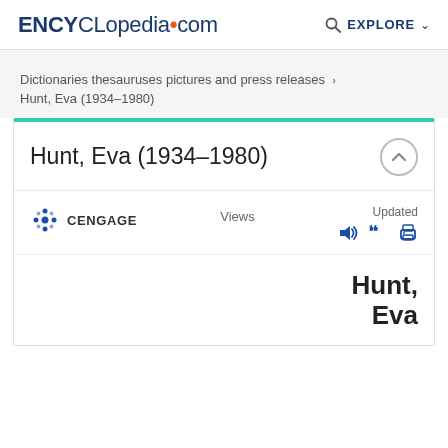ENCYCLopedia.com  EXPLORE
Dictionaries thesauruses pictures and press releases › Hunt, Eva (1934–1980)
Hunt, Eva (1934–1980)
CENGAGE  Views  Updated
Hunt, Eva